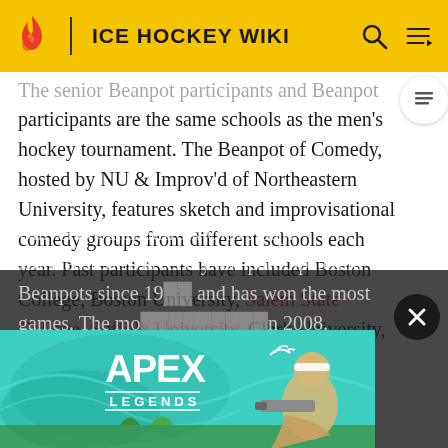ICE HOCKEY WIKI
The senior Beanpot participants and Beanpot participants are the same schools as the men's hockey tournament. The Beanpot of Comedy, hosted by NU & Improv'd of Northeastern University, features sketch and improvisational comedy groups from different schools each year. Past participants have included Boston College, Boston University, Salem State College, Suffolk University, Clark University, and Tufts University. The Business Beanpot participants are Babson College, Boston University, Bentley College, Northeastern University and Suffolk University. Northeastern University has participated in Beanpots since 1950s and has won the most games. The most recent... in 2008.
[Figure (screenshot): Apex Legends video game advertisement banner showing a character with a weapon against a teal background]